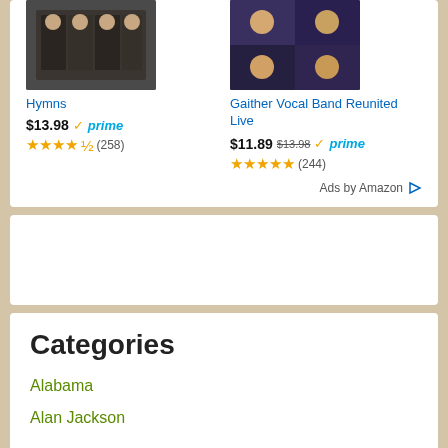[Figure (photo): Photo of a group of men in dark suits (gospel/vocal group)]
Hymns
$13.98 ✓prime
★★★★½ (258)
[Figure (photo): Collage of four men performing (Gaither Vocal Band)]
Gaither Vocal Band Reunited Live
$11.89 $13.98 ✓prime
★★★★★ (244)
Ads by Amazon ▷
Categories
Alabama
Alan Jackson